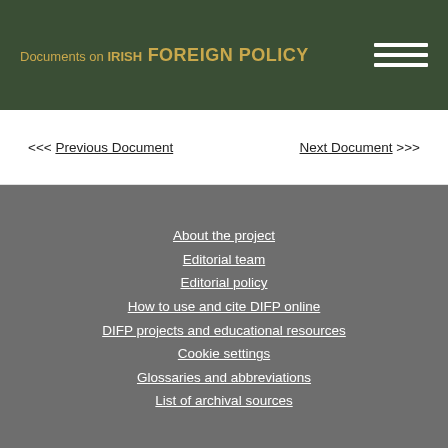Documents on IRISH FOREIGN POLICY
<<< Previous Document    Next Document >>>
About the project
Editorial team
Editorial policy
How to use and cite DIFP online
DIFP projects and educational resources
Cookie settings
Glossaries and abbreviations
List of archival sources